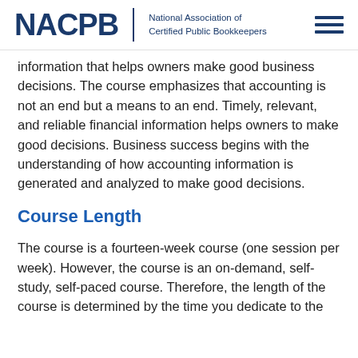NACPB | National Association of Certified Public Bookkeepers
information that helps owners make good business decisions. The course emphasizes that accounting is not an end but a means to an end. Timely, relevant, and reliable financial information helps owners to make good decisions. Business success begins with the understanding of how accounting information is generated and analyzed to make good decisions.
Course Length
The course is a fourteen-week course (one session per week). However, the course is an on-demand, self-study, self-paced course. Therefore, the length of the course is determined by the time you dedicate to the